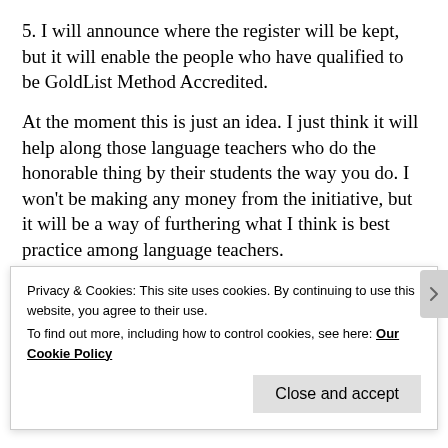5. I will announce where the register will be kept, but it will enable the people who have qualified to be GoldList Method Accredited.
At the moment this is just an idea. I just think it will help along those language teachers who do the honorable thing by their students the way you do. I won't be making any money from the initiative, but it will be a way of furthering what I think is best practice among language teachers.
Advertisements
[Figure (other): Longreads advertisement banner with red background and LONGREADS logo text with circular emblem]
Privacy & Cookies: This site uses cookies. By continuing to use this website, you agree to their use.
To find out more, including how to control cookies, see here: Our Cookie Policy
Close and accept